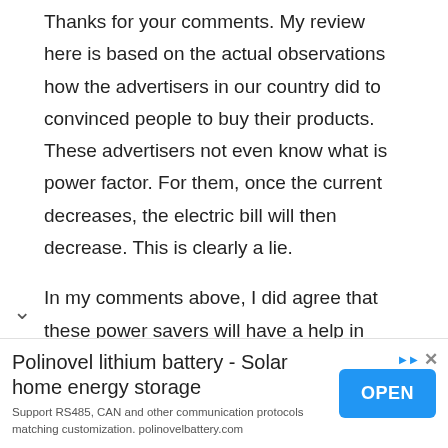Thanks for your comments. My review here is based on the actual observations how the advertisers in our country did to convinced people to buy their products. These advertisers not even know what is power factor. For them, once the current decreases, the electric bill will then decrease. This is clearly a lie.
In my comments above, I did agree that these power savers will have a help in some way in a huge building or factory with inductive loads. In a huge building, wires are longer and thus the
[Figure (other): Advertisement banner for Polinovel lithium battery - Solar home energy storage with OPEN button]